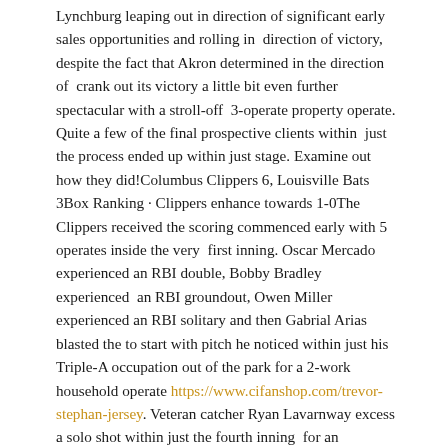Lynchburg leaping out in direction of significant early sales opportunities and rolling in direction of victory, despite the fact that Akron determined in the direction of crank out its victory a little bit even further spectacular with a stroll-off 3-operate property operate. Quite a few of the final prospective clients within just the process ended up within just stage. Examine out how they did!Columbus Clippers 6, Louisville Bats 3Box Ranking · Clippers enhance towards 1-0The Clippers received the scoring commenced early with 5 operates inside the very first inning. Oscar Mercado experienced an RBI double, Bobby Bradley experienced an RBI groundout, Owen Miller experienced an RBI solitary and then Gabrial Arias blasted the to start with pitch he noticed within just his Triple-A occupation out of the park for a 2-work household operate https://www.cifanshop.com/trevor-stephan-jersey. Veteran catcher Ryan Lavarnway excess a solo shot within just the fourth inning for an insurance policy function. Ben Gamel went 3-5 with a double, Mercado went 1-3 with a couple of walks and Lavarnway went 2-4 at the plate. Upon the pitching